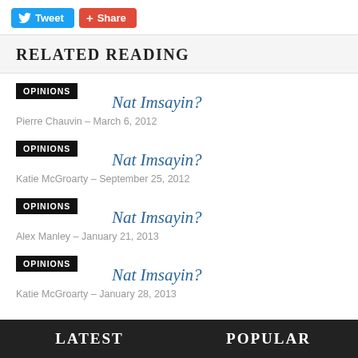[Figure (other): Social media sharing buttons: Tweet (Twitter blue) and Share (red/orange) buttons]
RELATED READING
OPINIONS — Nat Imsayin? — Pierre Chauvin – March 6, 2012
OPINIONS — Nat Imsayin? — Katie McGroarty – September 25, 2012
OPINIONS — Nat Imsayin? — Alex Manley – January 21, 2013
OPINIONS — Nat Imsayin? — Katie McGroarty – January 28, 2013
LATEST     POPULAR